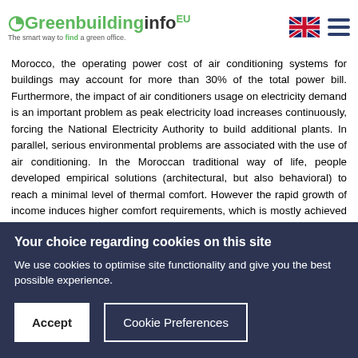Greenbuildinginfo.eu — The smart way to find a green office.
Morocco, the operating power cost of air conditioning systems for buildings may account for more than 30% of the total power bill. Furthermore, the impact of air conditioners usage on electricity demand is an important problem as peak electricity load increases continuously, forcing the National Electricity Authority to build additional plants. In parallel, serious environmental problems are associated with the use of air conditioning. In the Moroccan traditional way of life, people developed empirical solutions (architectural, but also behavioral) to reach a minimal level of thermal comfort. However the rapid growth of income induces higher comfort requirements, which is mostly achieved through the use of electric air-conditioning equipment, especially in modern houses. This leads to a significant increase in energy consumption and consequently in greenhouse gas emission.
Your choice regarding cookies on this site
We use cookies to optimise site functionality and give you the best possible experience.